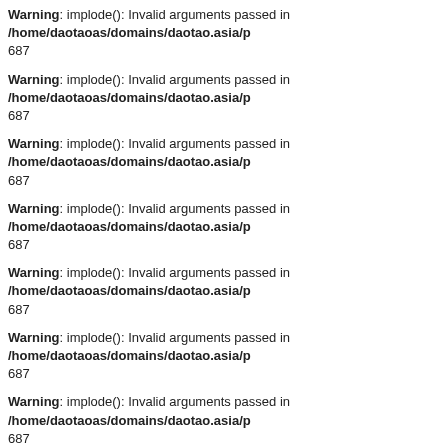Warning: implode(): Invalid arguments passed in /home/daotaoas/domains/daotao.asia/p 687
Warning: implode(): Invalid arguments passed in /home/daotaoas/domains/daotao.asia/p 687
Warning: implode(): Invalid arguments passed in /home/daotaoas/domains/daotao.asia/p 687
Warning: implode(): Invalid arguments passed in /home/daotaoas/domains/daotao.asia/p 687
Warning: implode(): Invalid arguments passed in /home/daotaoas/domains/daotao.asia/p 687
Warning: implode(): Invalid arguments passed in /home/daotaoas/domains/daotao.asia/p 687
Warning: implode(): Invalid arguments passed in /home/daotaoas/domains/daotao.asia/p 687
Warning: implode(): Invalid arguments passed in /home/daotaoas/domains/daotao.asia/p 687
Warning: implode(): Invalid arguments passed in /home/daotaoas/domains/daotao.asia/p 687
Warning: implode(): Invalid arguments passed in /home/daotaoas/domains/daotao.asia/p 687
Warning: implode(): Invalid arguments passed in /home/daotaoas/domains/daotao.asia/p